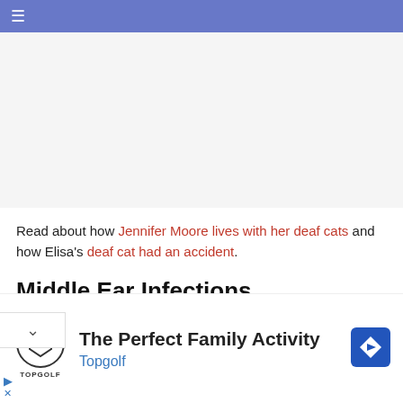≡
Read about how Jennifer Moore lives with her deaf cats and how Elisa's deaf cat had an accident.
Middle Ear Infections
iddle ear is the part beyond the ear drum which is at
[Figure (screenshot): Advertisement banner: Topgolf - The Perfect Family Activity]
The Perfect Family Activity
Topgolf